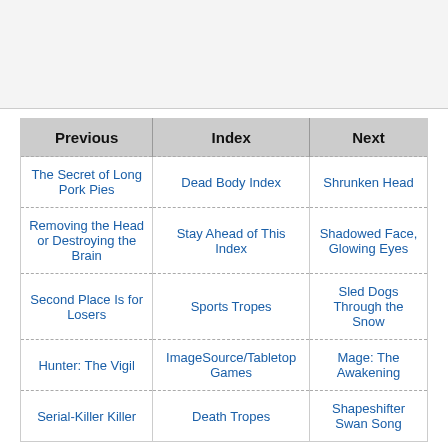| Previous | Index | Next |
| --- | --- | --- |
| The Secret of Long Pork Pies | Dead Body Index | Shrunken Head |
| Removing the Head or Destroying the Brain | Stay Ahead of This Index | Shadowed Face, Glowing Eyes |
| Second Place Is for Losers | Sports Tropes | Sled Dogs Through the Snow |
| Hunter: The Vigil | ImageSource/Tabletop Games | Mage: The Awakening |
| Serial-Killer Killer | Death Tropes | Shapeshifter Swan Song |